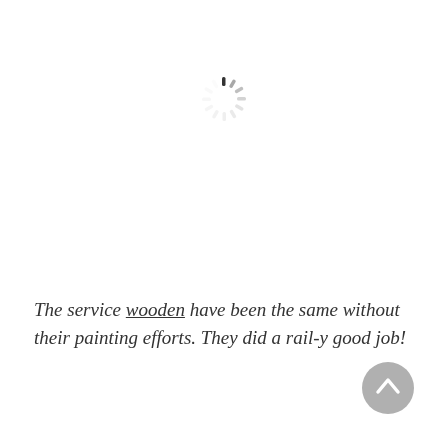[Figure (other): A circular loading/spinner icon with short dashes arranged in a clock pattern, grey in color, centered near the top of the page.]
The service wooden have been the same without their painting efforts. They did a rail-y good job!
[Figure (other): A grey circular back-to-top button with a white upward-pointing chevron/arrow, positioned in the bottom-right corner.]